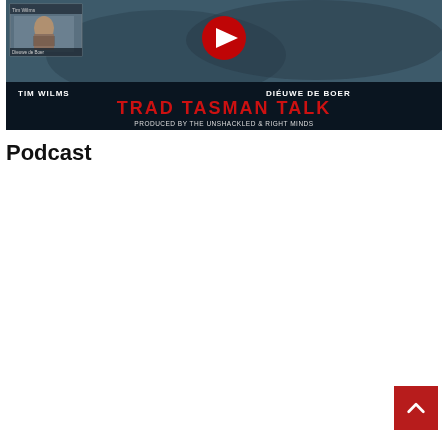[Figure (screenshot): YouTube thumbnail for 'Trad Tasman Talk' podcast featuring Tim Wilms and Dieuwe de Boer. Background shows crowd scene with police. Red YouTube play button in top center. Lower section has dark blue/red banner with 'TIM WILMS' on left and 'DIEUWE DE BOER' on right in white text, 'TRAD TASMAN TALK' in large red bold letters, and 'PRODUCED BY THE UNSHACKLED & RIGHT MINDS' in white below.]
Podcast